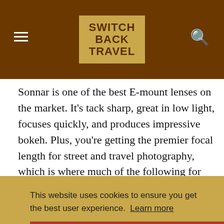SWITCH BACK TRAVEL
Sonnar is one of the best E-mount lenses on the market. It's tack sharp, great in low light, focuses quickly, and produces impressive bokeh. Plus, you're getting the premier focal length for street and travel photography, which is where much of the following for this lens comes from.
This website uses cookies to ensure you get the best user experience. Learn more
Got it!
quality — the Sony Zeiss FE 55mm f/1.8 has a professional feel and